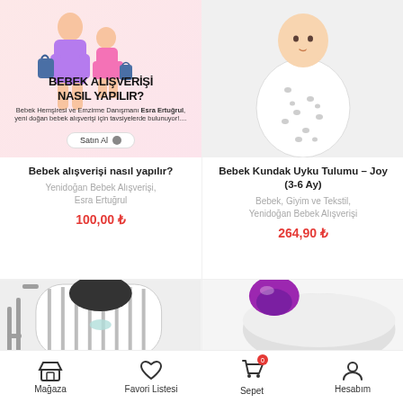[Figure (illustration): Promotional banner with illustrated mother and child carrying bags on pink background, text 'BEBEK ALIŞVERİŞİ NASIL YAPILIR?', subtitle about Esra Ertuğrul, and a 'Satın Al' button]
[Figure (photo): Photo of a baby wearing a white sleep sack with pattern on light background]
Bebek alışverişi nasıl yapılır?
Yenidoğan Bebek Alışverişi, Esra Ertuğrul
100,00 ₺
Bebek Kundak Uyku Tulumu – Joy (3-6 Ay)
Bebek, Giyim ve Tekstil, Yenidoğan Bebek Alışverişi
264,90 ₺
[Figure (photo): Partial photo of a striped nursing cover with baby chair visible]
[Figure (photo): Partial photo of a purple and gray product on white background]
Mağaza   Favori Listesi   Sepet   Hesabım